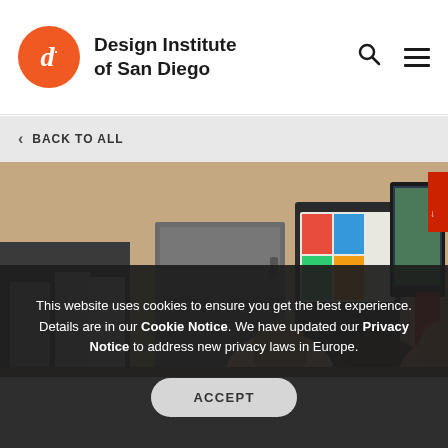Design Institute of San Diego
BACK TO ALL
[Figure (photo): Photo of people peeking above a kitchen counter area with appliances including a refrigerator, vending machine, TV monitor, and fire extinguisher on the wall.]
This website uses cookies to ensure you get the best experience. Details are in our Cookie Notice. We have updated our Privacy Notice to address new privacy laws in Europe.
ACCEPT